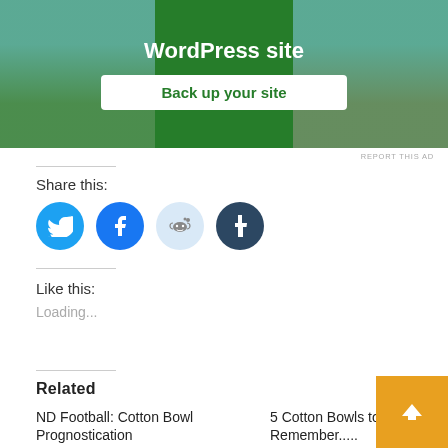[Figure (screenshot): Advertisement banner for WordPress site backup with green background, 'WordPress site' heading, and 'Back up your site' button. Background shows aerial stadium photos on left and right sides.]
REPORT THIS AD
Share this:
[Figure (illustration): Four social media icon circles: Twitter (blue bird), Facebook (blue f), Reddit (light blue alien), Tumblr (dark blue t)]
Like this:
Loading...
Related
ND Football: Cotton Bowl Prognostication
5 Cotton Bowls to Remember.....